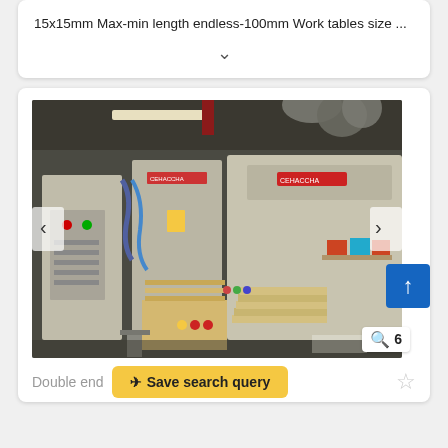15x15mm Max-min length endless-100mm Work tables size ...
[Figure (photo): Industrial woodworking machine (double end) in a factory/workshop setting. Large beige/cream colored machinery with a control panel on the left, hoses and ductwork at top, and wood panels stacked in front. Logo visible on machine cabinet.]
Double end
Save search query